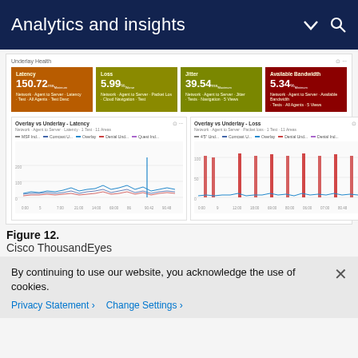Analytics and insights
[Figure (screenshot): Cisco ThousandEyes dashboard showing Underlay Health metrics with four colored cards: Latency 150.72ms, Loss 5.99%, Jitter 39.54ms, Available Bandwidth 5.34%. Below are two line charts: Overlay vs Underlay - Latency and Overlay vs Underlay - Loss showing time-series data with multiple colored lines.]
Figure 12.
Cisco ThousandEyes
By continuing to use our website, you acknowledge the use of cookies.
Privacy Statement > Change Settings >